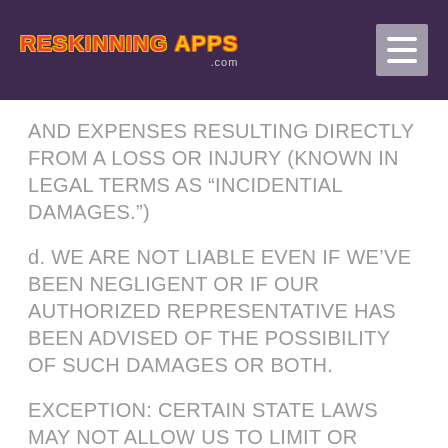RESKINNING APPS .com
AND EXPENSES RESULTING DIRECTLY FROM A LOSS OR INJURY (KNOWN IN LEGAL TERMS AS “INCIDENTAL DAMAGES.”)
d. WE ARE NOT LIABLE EVEN IF WE’VE BEEN NEGLIGENT OR IF OUR AUTHORIZED REPRESENTATIVE HAS BEEN ADVISED OF THE POSSIBILITY OF SUCH DAMAGES OR BOTH.
EXCEPTION: CERTAIN STATE LAWS MAY NOT ALLOW US TO LIMIT OR EXCLUDE LIABILITY FOR THESE